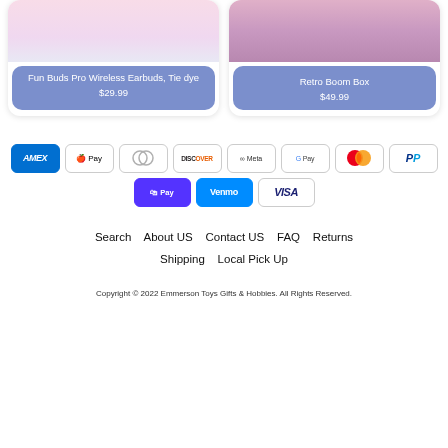[Figure (photo): Product card: Fun Buds Pro Wireless Earbuds Tie dye, showing product image at top and blue-purple label with name and price $29.99]
[Figure (photo): Product card: Retro Boom Box, showing product image at top and blue-purple label with name and price $49.99]
[Figure (infographic): Payment method icons: American Express, Apple Pay, Diners Club, Discover, Meta Pay, Google Pay, Mastercard, PayPal, Shop Pay, Venmo, Visa]
Search   About US   Contact US   FAQ   Returns
Shipping   Local Pick Up
Copyright © 2022 Emmerson Toys Gifts & Hobbies. All Rights Reserved.